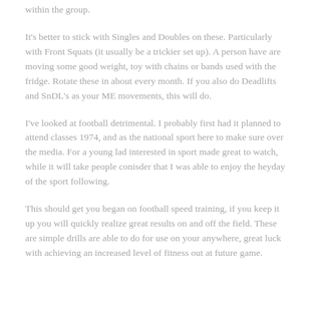within the group.
It's better to stick with Singles and Doubles on these. Particularly with Front Squats (it usually be a trickier set up). A person have are moving some good weight, toy with chains or bands used with the fridge. Rotate these in about every month. If you also do Deadlifts and SnDL's as your ME movements, this will do.
I've looked at football detrimental. I probably first had it planned to attend classes 1974, and as the national sport here to make sure over the media. For a young lad interested in sport made great to watch, while it will take people conisder that I was able to enjoy the heyday of the sport following.
This should get you began on football speed training, if you keep it up you will quickly realize great results on and off the field. These are simple drills are able to do for use on your anywhere, great luck with achieving an increased level of fitness out at future game.